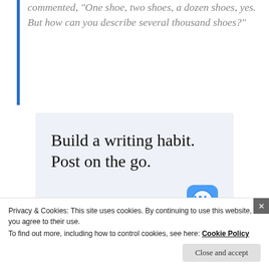commented, “One shoe, two shoes, a dozen shoes, yes. But how can you describe several thousand shoes?”
[Figure (infographic): WordPress app advertisement with light blue background. Large serif text reads 'Build a writing habit. Post on the go.' with a 'GET THE APP' link in blue and the WordPress circular logo icon on the right.]
Privacy & Cookies: This site uses cookies. By continuing to use this website, you agree to their use.
To find out more, including how to control cookies, see here: Cookie Policy